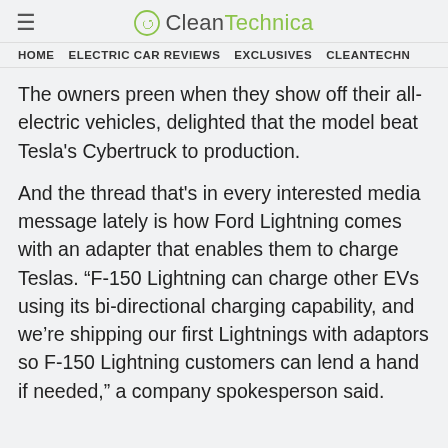≡  CleanTechnica
HOME   ELECTRIC CAR REVIEWS   EXCLUSIVES   CLEANTECHN
The owners preen when they show off their all-electric vehicles, delighted that the model beat Tesla's Cybertruck to production.
And the thread that's in every interested media message lately is how Ford Lightning comes with an adapter that enables them to charge Teslas. “F-150 Lightning can charge other EVs using its bi-directional charging capability, and we're shipping our first Lightnings with adaptors so F-150 Lightning customers can lend a hand if needed,” a company spokesperson said.